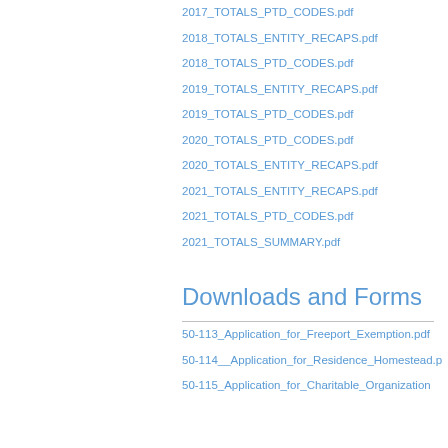2017_TOTALS_PTD_CODES.pdf
2018_TOTALS_ENTITY_RECAPS.pdf
2018_TOTALS_PTD_CODES.pdf
2019_TOTALS_ENTITY_RECAPS.pdf
2019_TOTALS_PTD_CODES.pdf
2020_TOTALS_PTD_CODES.pdf
2020_TOTALS_ENTITY_RECAPS.pdf
2021_TOTALS_ENTITY_RECAPS.pdf
2021_TOTALS_PTD_CODES.pdf
2021_TOTALS_SUMMARY.pdf
Downloads and Forms
50-113_Application_for_Freeport_Exemption.pdf
50-114__Application_for_Residence_Homestead.p
50-115_Application_for_Charitable_Organization